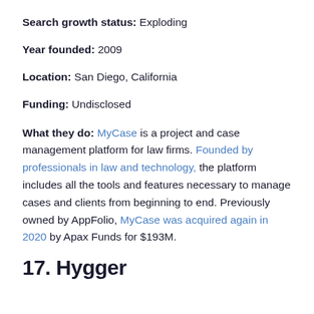Search growth status: Exploding
Year founded: 2009
Location: San Diego, California
Funding: Undisclosed
What they do: MyCase is a project and case management platform for law firms. Founded by professionals in law and technology, the platform includes all the tools and features necessary to manage cases and clients from beginning to end. Previously owned by AppFolio, MyCase was acquired again in 2020 by Apax Funds for $193M.
17. Hygger